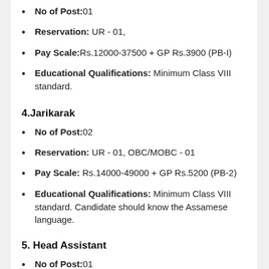No of Post:01
Reservation: UR - 01,
Pay Scale:Rs.12000-37500 + GP Rs.3900 (PB-I)
Educational Qualifications: Minimum Class VIII standard.
4.Jarikarak
No of Post:02
Reservation: UR - 01, OBC/MOBC - 01
Pay Scale: Rs.14000-49000 + GP Rs.5200 (PB-2)
Educational Qualifications: Minimum Class VIII standard. Candidate should know the Assamese language.
5. Head Assistant
No of Post:01
Reservation: UR - 01
Pay Scale: Rs.22000/- to 87000/- + GP Rs.9100